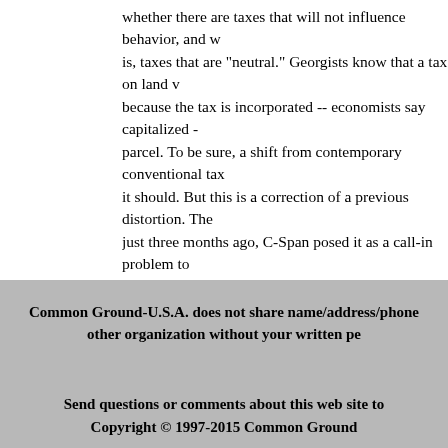whether there are taxes that will not influence behavior, and w is, taxes that are "neutral." Georgists know that a tax on land v because the tax is incorporated -- economists say capitalized - parcel. To be sure, a shift from contemporary conventional tax it should. But this is a correction of a previous distortion. The just three months ago, C-Span posed it as a call-in problem to
These are some of the challenges that I've jotted down on occa them. Many, even most, are beyond my ability to explore. But how to address them. If we don't who will?
Common Ground-U.S.A. does not share name/address/phone other organization without your written pe
Send questions or comments about this web site to Copyright © 1997-2015 Common Ground